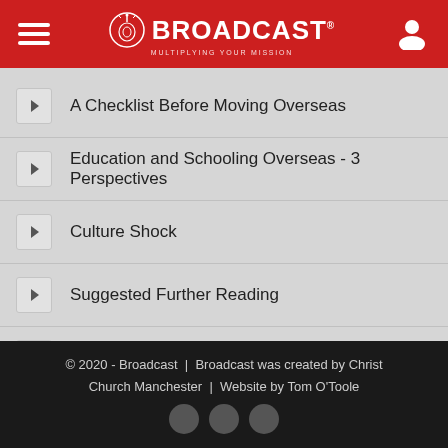BROADCAST
A Checklist Before Moving Overseas
Education and Schooling Overseas - 3 Perspectives
Culture Shock
Suggested Further Reading
Reflection Questions
© 2020 - Broadcast  |  Broadcast was created by Christ Church Manchester  |  Website by Tom O'Toole